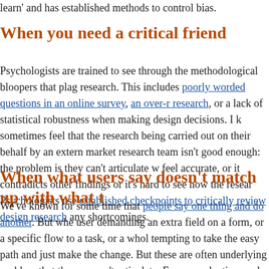learn' and has established methods to control bias.
When you need a critical friend
Psychologists are trained to see through the methodological bloopers that plague research. This includes poorly worded questions in an online survey, an over-reliance on research, or a lack of statistical robustness when making design decisions. I know clients sometimes feel that the research being carried out on their behalf by an external market research team isn't good enough: the problem is they can't articulate why — it doesn't feel accurate, or it contradicts other findings or it's hard to see how the research is valid. Psychologists use established checkpoints to critically review design research to expose any shortcomings.
When what users say doesn't match up with what t
We've known for some time that people say one thing and do another. But when a user demanding an extra field on a form, or a specific flow to a task, or a whole new feature, it's tempting to take the easy path and just make the change. But these are often symptoms of an underlying problem that the user can't articulate. For example, time and again we see a common issue in user interfaces: the conceptual model implemented by the designer doesn't match the user's mental model of how the system should work. Unsurprisingly, I'm we